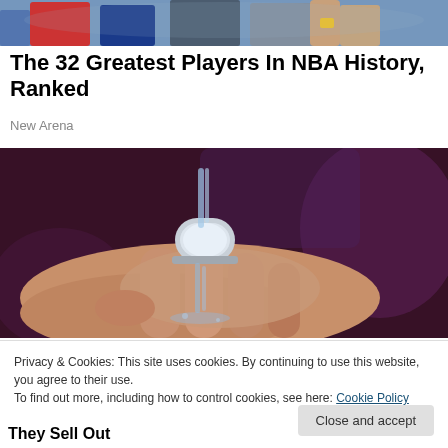[Figure (photo): Partial top strip of a sports/NBA photo showing players]
The 32 Greatest Players In NBA History, Ranked
New Arena
[Figure (photo): Close-up photo of a ring-shaped faucet with water running over a hand]
Privacy & Cookies: This site uses cookies. By continuing to use this website, you agree to their use.
To find out more, including how to control cookies, see here: Cookie Policy
Close and accept
They Sell Out